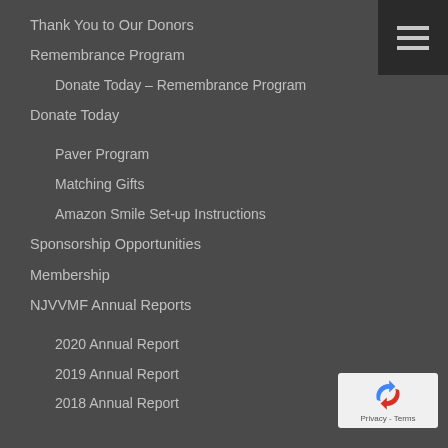Thank You to Our Donors
Remembrance Program
Donate Today – Remembrance Program
Donate Today
Paver Program
Matching Gifts
Amazon Smile Set-up Instructions
Sponsorship Opportunities
Membership
NJVVMF Annual Reports
2020 Annual Report
2019 Annual Report
2018 Annual Report
ABOUT US
NJVVMF Blog
2018 Annual Report
History of NJVVMF
Our Team
Our Volunteers